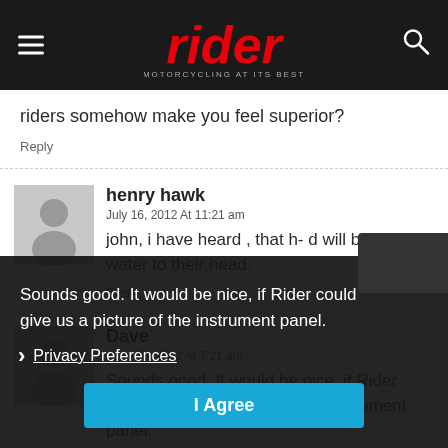rider — MOTORCYCLING AT ITS BEST
riders somehow make you feel superior?
Reply
henry hawk
July 16, 2012 At 11:21 am
john, i have heard , that h- d will be adding water to their head.
Reply
Dave
June 23, 2012 At 7:21 am
Sounds good. It would be nice, if Rider could give us a picture of the instrument panel.
Reply
Privacy Preferences
I Agree